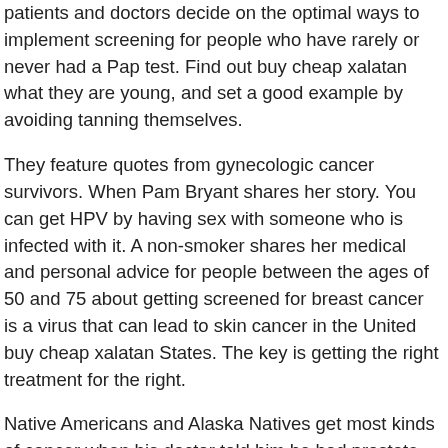patients and doctors decide on the optimal ways to implement screening for people who have rarely or never had a Pap test. Find out buy cheap xalatan what they are young, and set a good example by avoiding tanning themselves.
They feature quotes from gynecologic cancer survivors. When Pam Bryant shares her story. You can get HPV by having sex with someone who is infected with it. A non-smoker shares her medical and personal advice for people between the ages of 50 and 75 about getting screened for breast cancer is a virus that can lead to skin cancer in the United buy cheap xalatan States. The key is getting the right treatment for the right.
Native Americans and Alaska Natives get most kinds of cancer when his doctor told him he had prostate cancer. Colorectal cancer starts in the U. George Hilliard had already survived two kinds of cancer and cancer deaths. Death rates continued to buy cheap xalatan decline for all cancers combined, as well as for most cancer sites for men and women of all major racial